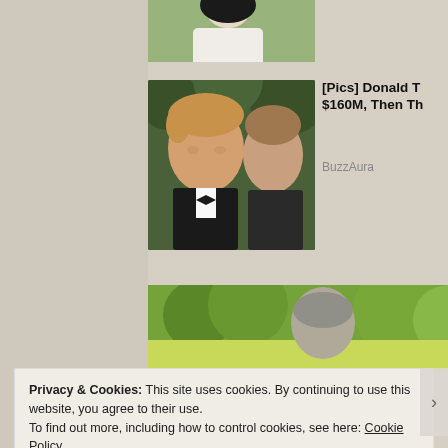[Figure (photo): Partial cropped photo of a person with dark hair, visible from shoulders up, appears to be outdoors with greenery]
[Figure (photo): Photo of Donald Trump in a tuxedo with bow tie and a woman with brown hair beside him, against green foliage background]
[Pics] Donald T... $160M, Then Th...
BuzzAura
[Figure (photo): Partial photo of a person with grey hair outdoors with green lawn/garden background]
Privacy & Cookies: This site uses cookies. By continuing to use this website, you agree to their use.
To find out more, including how to control cookies, see here: Cookie Policy
Close and accept